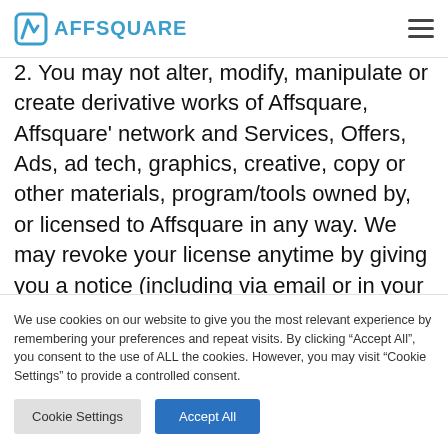AFFSQUARE
the Affsquare Affiliate Service for increasing sales
2. You may not alter, modify, manipulate or create derivative works of Affsquare, Affsquare' network and Services, Offers, Ads, ad tech, graphics, creative, copy or other materials, program/tools owned by, or licensed to Affsquare in any way. We may revoke your license anytime by giving you a notice (including via email or in your personal
We use cookies on our website to give you the most relevant experience by remembering your preferences and repeat visits. By clicking “Accept All”, you consent to the use of ALL the cookies. However, you may visit “Cookie Settings” to provide a controlled consent.